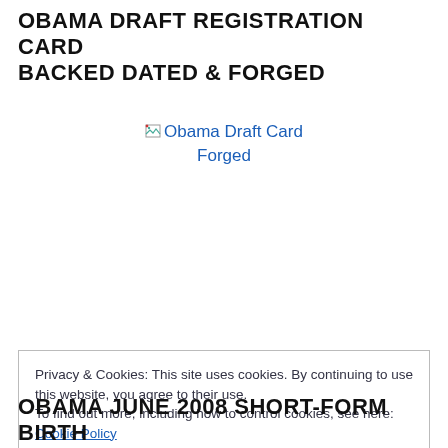OBAMA DRAFT REGISTRATION CARD BACKED DATED & FORGED
[Figure (photo): Broken image placeholder link reading 'Obama Draft Card Forged']
Privacy & Cookies: This site uses cookies. By continuing to use this website, you agree to their use.
To find out more, including how to control cookies, see here:
Cookie Policy
Close and accept
OBAMA JUNE 2008 SHORT-FORM BIRTH